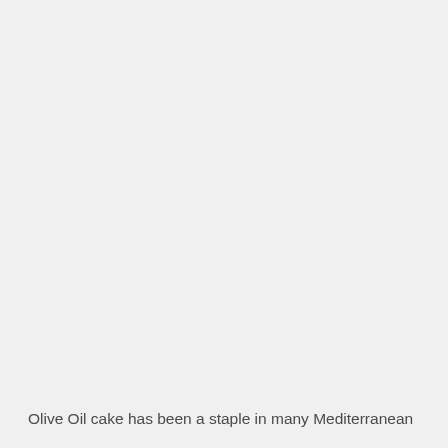Olive Oil cake has been a staple in many Mediterranean